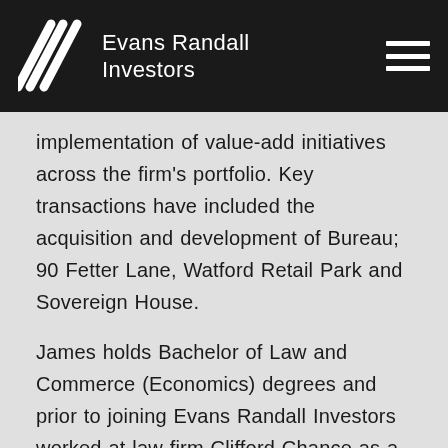Evans Randall Investors
implementation of value-add initiatives across the firm's portfolio. Key transactions have included the acquisition and development of Bureau; 90 Fetter Lane, Watford Retail Park and Sovereign House.
James holds Bachelor of Law and Commerce (Economics) degrees and prior to joining Evans Randall Investors worked at law firm Clifford Chance as a Senior Associate in the real estate group.